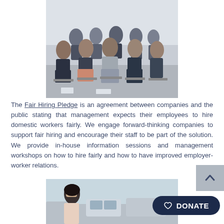[Figure (photo): People seated in rows at a formal event or conference, wearing business attire. A large group including men and women, photographed from the front in a bright room.]
The Fair Hiring Pledge is an agreement between companies and the public stating that management expects their employees to hire domestic workers fairly. We engage forward-thinking companies to support fair hiring and encourage their staff to be part of the solution. We provide in-house information sessions and management workshops on how to hire fairly and how to have improved employer-worker relations.
[Figure (photo): A woman standing outdoors near parked cars, appearing distressed with her hand on her forehead.]